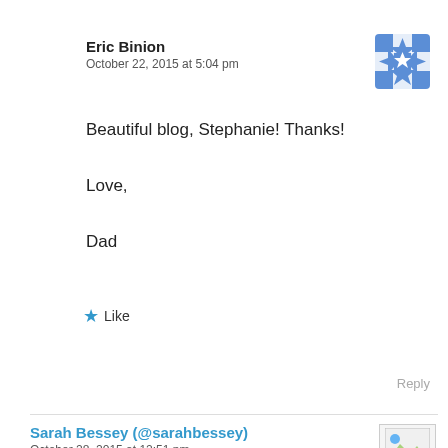Eric Binion
October 22, 2015 at 5:04 pm
[Figure (illustration): Blue and white decorative avatar icon with snowflake/star pattern]
Beautiful blog, Stephanie! Thanks!

Love,

Dad
★ Like
Reply
Sarah Bessey (@sarahbessey)
October 28, 2015 at 12:51 pm
[Figure (photo): Small placeholder image icon]
Oh, this made me cry. Beautiful, girl. xo